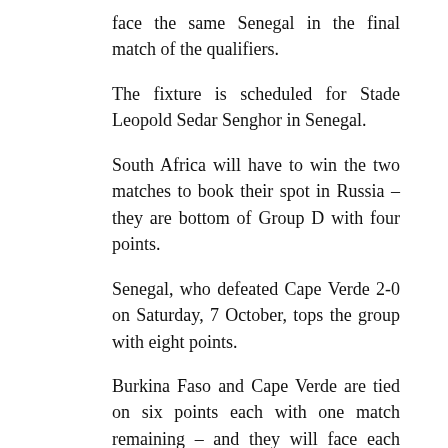face the same Senegal in the final match of the qualifiers.
The fixture is scheduled for Stade Leopold Sedar Senghor in Senegal.
South Africa will have to win the two matches to book their spot in Russia – they are bottom of Group D with four points.
Senegal, who defeated Cape Verde 2-0 on Saturday, 7 October, tops the group with eight points.
Burkina Faso and Cape Verde are tied on six points each with one match remaining – and they will face each other in their final match of the qualifiers.
“Senegal’s victory over Cape Verde has tilted the scale slightly in our favour and now we are still very much alive in the qualifiers. I have been saying we have to live in the here and now, what happens in the other